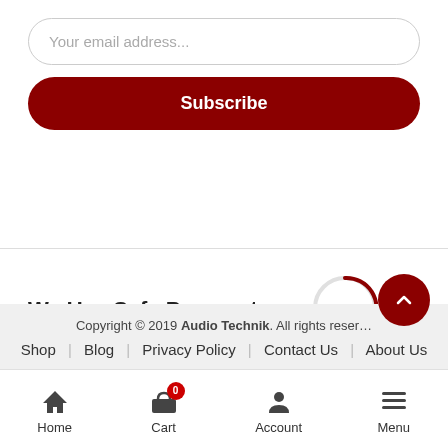Your email address...
Subscribe
We Use Safe Payments:
Copyright © 2019 Audio Technik. All rights reserved.
Shop | Blog | Privacy Policy | Contact Us | About Us
Home  Cart  Account  Menu